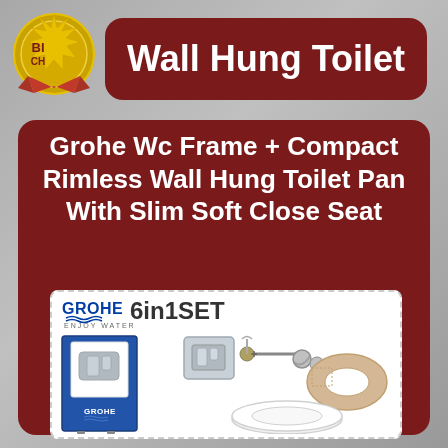[Figure (illustration): Gold badge/seal with ribbon, partially showing 'BI' and 'CH' text, top-left corner]
Wall Hung Toilet
Grohe Wc Frame + Compact Rimless Wall Hung Toilet Pan With Slim Soft Close Seat
[Figure (photo): GROHE 6in1SET product image showing: GROHE logo with waves and 'ENJOY WATER' tagline, a blue WC frame/cistern unit with flush plate, a square gray flush button panel, metal fixing bolts/screws, a beige toilet seal/gasket, and a white slim toilet seat]